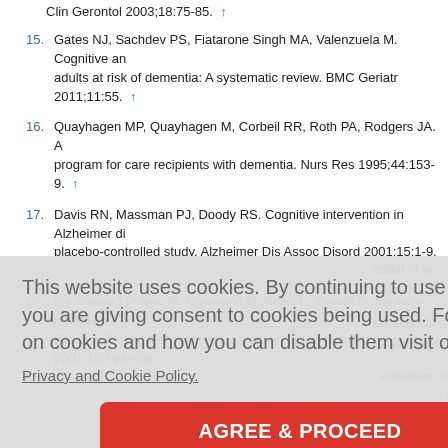Clin Gerontol 2003;18:75-85. ↑
15. Gates NJ, Sachdev PS, Fiatarone Singh MA, Valenzuela M. Cognitive and... adults at risk of dementia: A systematic review. BMC Geriatr 2011;11:55. ↑
16. Quayhagen MP, Quayhagen M, Corbeil RR, Roth PA, Rodgers JA. A... program for care recipients with dementia. Nurs Res 1995;44:153-9. ↑
17. Davis RN, Massman PJ, Doody RS. Cognitive intervention in Alzheimer di... placebo-controlled study. Alzheimer Dis Assoc Disord 2001;15:1-9. ↑
18. De Vreese LP, Neri M, Fioravanti M, Belloi L, Zanetti O. Memory rehabili... disease: A review of progress. Int J Geriatr Psychiatry 2001;16:794-809. ↑
This website uses cookies. By continuing to use this website you are giving consent to cookies being used. For information on cookies and how you can disable them visit our
Privacy and Cookie Policy.
AGREE & PROCEED